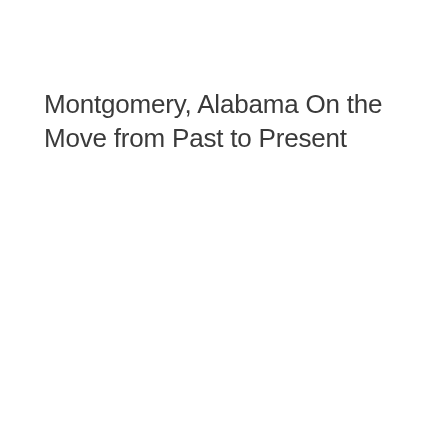Montgomery, Alabama On the Move from Past to Present